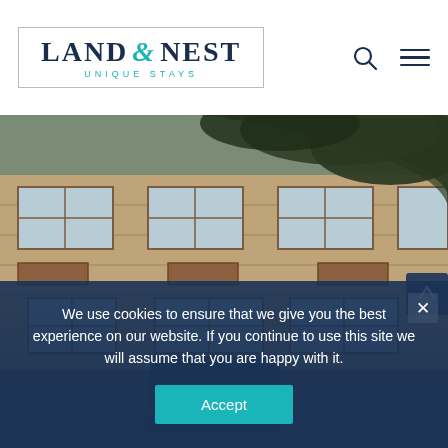LAND & NEST — UNIQUE STAYS
[Figure (photo): Exterior facade of a brick building with large windows, partially obscured by tree branches. Dark blue overlay at the bottom. Architectural hotel or residential building.]
We use cookies to ensure that we give you the best experience on our website. If you continue to use this site we will assume that you are happy with it.
Accept